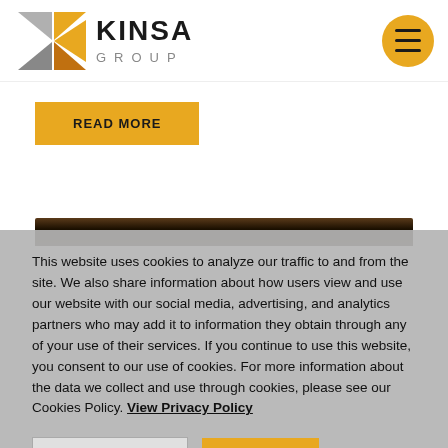[Figure (logo): Kinsa Group logo — geometric diamond/triangle icon in gold and grey with 'KINSA GROUP' text]
[Figure (other): Orange circular hamburger menu button with three horizontal lines]
READ MORE
[Figure (photo): Dark brown/black image strip at the top — partially visible background image]
This website uses cookies to analyze our traffic to and from the site. We also share information about how users view and use our website with our social media, advertising, and analytics partners who may add it to information they obtain through any of your use of their services. If you continue to use this website, you consent to our use of cookies. For more information about the data we collect and use through cookies, please see our Cookies Policy. View Privacy Policy
COOKIE SETTINGS
ACCEPT ALL
Cookies Policy